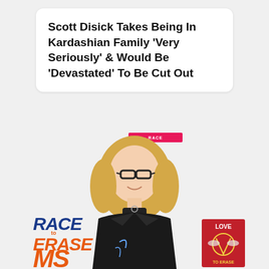Scott Disick Takes Being In Kardashian Family ‘Very Seriously’ & Would Be ‘Devastated’ To Be Cut Out
[Figure (photo): A smiling blonde woman wearing glasses and a black leather jacket at what appears to be a Race to Erase MS event. Event logos visible: Race to Erase MS on the left, a Love badge on the right, and a small pink banner strip near the top of the image.]